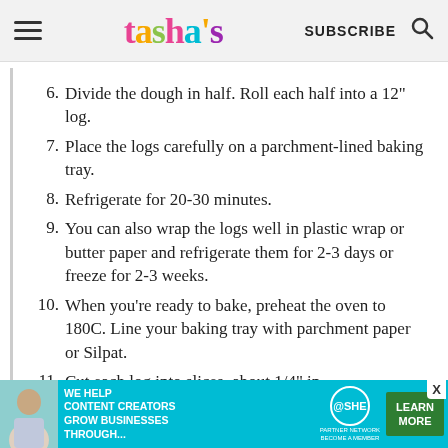tasha's | SUBSCRIBE
6. Divide the dough in half. Roll each half into a 12" log.
7. Place the logs carefully on a parchment-lined baking tray.
8. Refrigerate for 20-30 minutes.
9. You can also wrap the logs well in plastic wrap or butter paper and refrigerate them for 2-3 days or freeze for 2-3 weeks.
10. When you're ready to bake, preheat the oven to 180C. Line your baking tray with parchment paper or Silpat.
11. Cut each log into slices, about 1/4" in
[Figure (infographic): Ad banner: WE HELP CONTENT CREATORS GROW BUSINESSES THROUGH... | SHE PARTNER NETWORK BECOME A MEMBER | LEARN MORE]